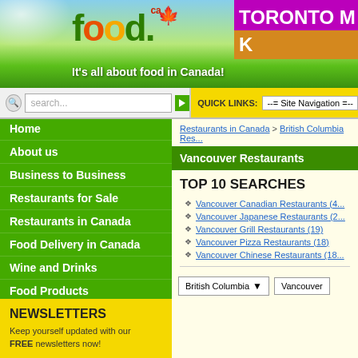[Figure (screenshot): food.ca website banner with logo, tagline and background of cherry blossoms, grass, blue sky]
It's all about food in Canada!
TORONTO M... K...
search...
QUICK LINKS: --= Site Navigation =--
Home
About us
Business to Business
Restaurants for Sale
Restaurants in Canada
Food Delivery in Canada
Wine and Drinks
Food Products
Food Equipment
Recipes
Food Events
Food News and Facts
NEWSLETTERS
Keep yourself updated with our FREE newsletters now!
Restaurants in Canada > British Columbia Res...
Vancouver Restaurants
TOP 10 SEARCHES
Vancouver Canadian Restaurants (4...)
Vancouver Japanese Restaurants (2...)
Vancouver Grill Restaurants (19)
Vancouver Pizza Restaurants (18)
Vancouver Chinese Restaurants (18...)
British Columbia   Vancouver